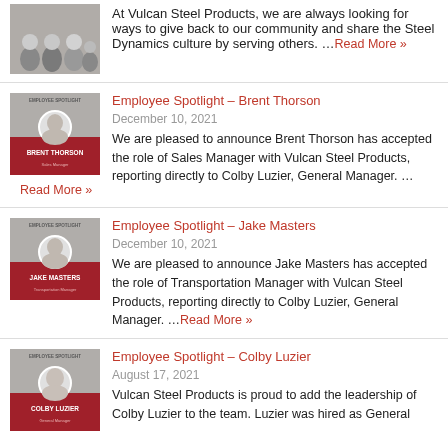[Figure (photo): Group photo of Vulcan Steel Products employees outdoors]
At Vulcan Steel Products, we are always looking for ways to give back to our community and share the Steel Dynamics culture by serving others. …Read More »
[Figure (photo): Employee Spotlight card for Brent Thorson with red and grey background]
Employee Spotlight – Brent Thorson
December 10, 2021
We are pleased to announce Brent Thorson has accepted the role of Sales Manager with Vulcan Steel Products, reporting directly to Colby Luzier, General Manager. …
Read More »
[Figure (photo): Employee Spotlight card for Jake Masters with red and grey background]
Employee Spotlight – Jake Masters
December 10, 2021
We are pleased to announce Jake Masters has accepted the role of Transportation Manager with Vulcan Steel Products, reporting directly to Colby Luzier, General Manager. …Read More »
[Figure (photo): Employee Spotlight card for Colby Luzier with red and grey background]
Employee Spotlight – Colby Luzier
August 17, 2021
Vulcan Steel Products is proud to add the leadership of Colby Luzier to the team. Luzier was hired as General